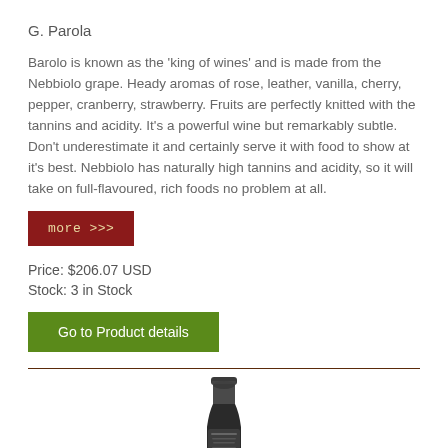G. Parola
Barolo is known as the 'king of wines' and is made from the Nebbiolo grape. Heady aromas of rose, leather, vanilla, cherry, pepper, cranberry, strawberry. Fruits are perfectly knitted with the tannins and acidity. It's a powerful wine but remarkably subtle. Don't underestimate it and certainly serve it with food to show at it's best. Nebbiolo has naturally high tannins and acidity, so it will take on full-flavoured, rich foods no problem at all.
more >>>
Price: $206.07 USD
Stock: 3 in Stock
Go to Product details
[Figure (photo): Bottom portion of a wine bottle showing a dark capsule/top with aged appearance]